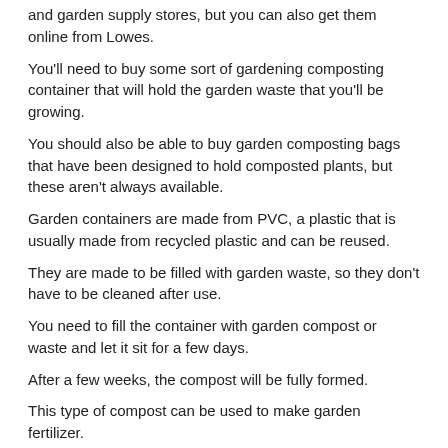and garden supply stores, but you can also get them online from Lowes.
You'll need to buy some sort of gardening composting container that will hold the garden waste that you'll be growing.
You should also be able to buy garden composting bags that have been designed to hold composted plants, but these aren't always available.
Garden containers are made from PVC, a plastic that is usually made from recycled plastic and can be reused.
They are made to be filled with garden waste, so they don't have to be cleaned after use.
You need to fill the container with garden compost or waste and let it sit for a few days.
After a few weeks, the compost will be fully formed.
This type of compost can be used to make garden fertilizer.
You won't need to do any special cleanup, but it's best to check on the container every few weeks.
You may want to purchase a garden compost bin to use as a compost pile.
You will need to refill the container after the compost is fully formed and you have it in a container that holds the compost.
This is a good time to fill it with some garden waste to see how the compost smells.